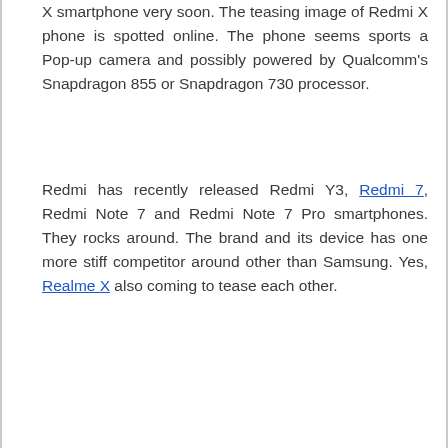X smartphone very soon. The teasing image of Redmi X phone is spotted online. The phone seems sports a Pop-up camera and possibly powered by Qualcomm's Snapdragon 855 or Snapdragon 730 processor.
Redmi has recently released Redmi Y3, Redmi 7, Redmi Note 7 and Redmi Note 7 Pro smartphones. They rocks around. The brand and its device has one more stiff competitor around other than Samsung. Yes, Realme X also coming to tease each other.